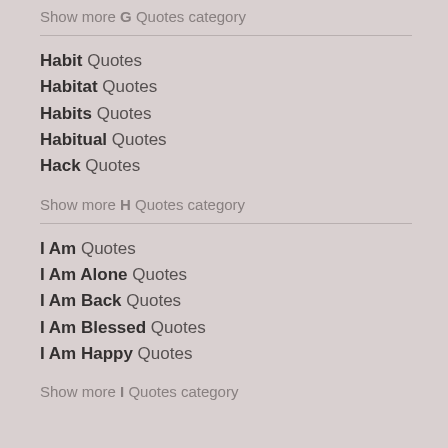Show more G Quotes category
Habit Quotes
Habitat Quotes
Habits Quotes
Habitual Quotes
Hack Quotes
Show more H Quotes category
I Am Quotes
I Am Alone Quotes
I Am Back Quotes
I Am Blessed Quotes
I Am Happy Quotes
Show more I Quotes category